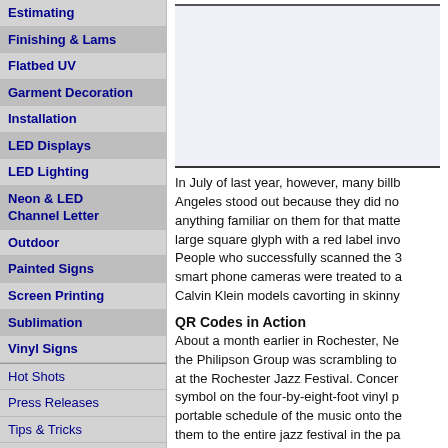Estimating
Finishing & Lams
Flatbed UV
Garment Decoration
Installation
LED Displays
LED Lighting
Neon & LED Channel Letter
Outdoor
Painted Signs
Screen Printing
Sublimation
Vinyl Signs
Hot Shots
Press Releases
Tips & Tricks
Industry Resources
Books
Event Calendar
Associations
Business Center
In July of last year, however, many billb... Angeles stood out because they did no... anything familiar on them for that matte... large square glyph with a red label invo... People who successfully scanned the 3... smart phone cameras were treated to a... Calvin Klein models cavorting in skinny...
QR Codes in Action
About a month earlier in Rochester, Ne... the Philipson Group was scrambling to ... at the Rochester Jazz Festival. Concer... symbol on the four-by-eight-foot vinyl p... portable schedule of the music onto the... them to the entire jazz festival in the pa... Philipson.